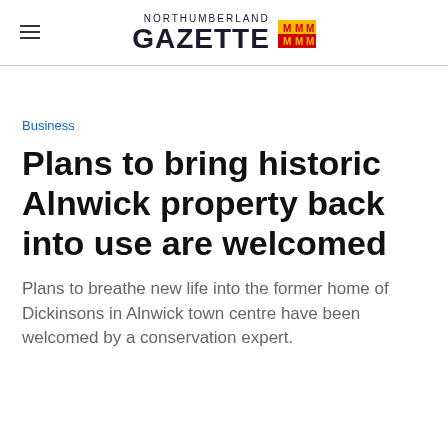NORTHUMBERLAND GAZETTE
Business
Plans to bring historic Alnwick property back into use are welcomed
Plans to breathe new life into the former home of Dickinsons in Alnwick town centre have been welcomed by a conservation expert.